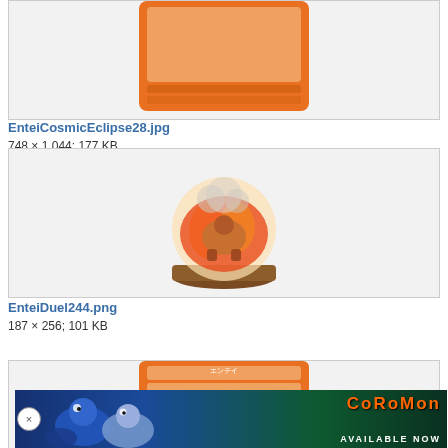[Figure (photo): Partial view of an Entei Pokemon trading card with orange background, cropped at top]
EnteiCosmicEclipse28.jpg
748 × 1,044; 177 KB
[Figure (photo): Entei Duel figure — a 3D figurine of Entei surrounded by orange flames, on a brown base, displayed in a snow globe style]
EnteiDuel244.png
187 × 256; 101 KB
[Figure (photo): Partial view of another Entei Pokemon card at the bottom of the page]
[Figure (illustration): Coromon advertisement banner with blue/teal sea creature characters and text COROMON AVAILABLE NOW in orange]